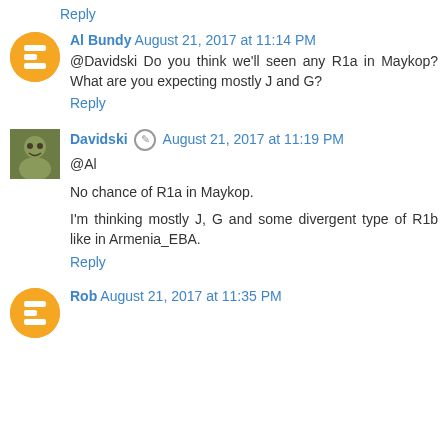Reply
Al Bundy August 21, 2017 at 11:14 PM
@Davidski Do you think we'll seen any R1a in Maykop? What are you expecting mostly J and G?
Reply
Davidski August 21, 2017 at 11:19 PM
@Al

No chance of R1a in Maykop.

I'm thinking mostly J, G and some divergent type of R1b like in Armenia_EBA.
Reply
Rob August 21, 2017 at 11:35 PM